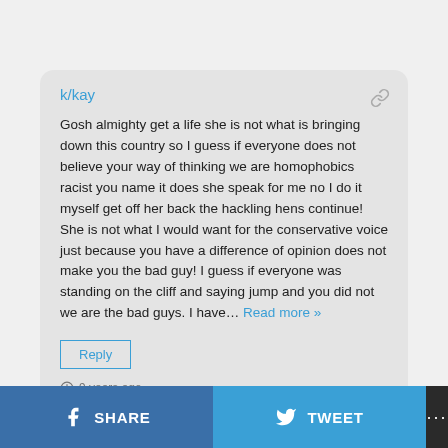k/kay
Gosh almighty get a life she is not what is bringing down this country so I guess if everyone does not believe your way of thinking we are homophobics racist you name it does she speak for me no I do it myself get off her back the hackling hens continue! She is not what I would want for the conservative voice just because you have a difference of opinion does not make you the bad guy! I guess if everyone was standing on the cliff and saying jump and you did not we are the bad guys. I have… Read more »
Reply
9 years ago
JEM
SHARE
TWEET